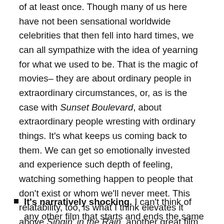of at least once. Though many of us here have not been sensational worldwide celebrities that then fell into hard times, we can all sympathize with the idea of yearning for what we used to be. That is the magic of movies– they are about ordinary people in extraordinary circumstances, or, as is the case with Sunset Boulevard, about extraordinary people wresting with ordinary things. It's what keeps us coming back to them. We can get so emotionally invested and experience such depth of feeling, watching something happen to people that don't exist or whom we'll never meet. This relatability, too, is what I think elevates it above Singin' in the Rain, another great film about the industry itself (and viable candidate for #1 American movie), but with a much more positive outlook.
It's narratively shocking. I can't think of any other film that starts and ends the same way Sunset Boulevard